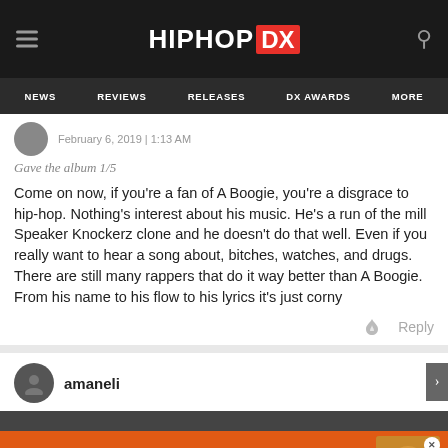HIPHOP DX
NEWS  REVIEWS  RELEASES  DX AWARDS  MORE
February 6, 2019 | 1:13 AM
Gave the album 1/5
Come on now, if you're a fan of A Boogie, you're a disgrace to hip-hop. Nothing's interest about his music. He's a run of the mill Speaker Knockerz clone and he doesn't do that well. Even if you really want to hear a song about, bitches, watches, and drugs. There are still many rappers that do it way better than A Boogie. From his name to his flow to his lyrics it's just corny
Reply
amaneli
HIGH RYE BOURBON. BOLD TASTING RECIPES.